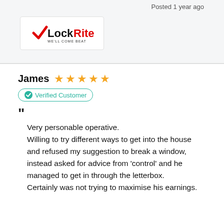Posted 1 year ago
[Figure (logo): LockRite logo with red checkmark and tagline]
James ★★★★★
Verified Customer
Very personable operative. Willing to try different ways to get into the house and refused my suggestion to break a window, instead asked for advice from 'control' and he managed to get in through the letterbox. Certainly was not trying to maximise his earnings.